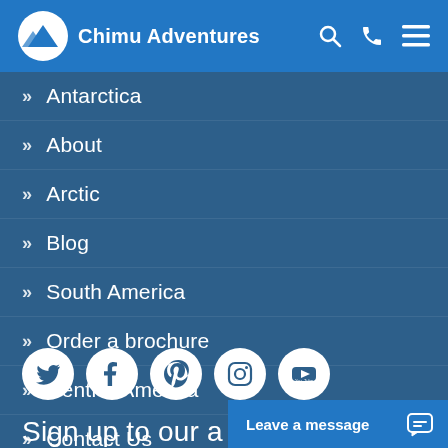Chimu Adventures
Antarctica
About
Arctic
Blog
South America
Order a brochure
Central America
Contact Us
[Figure (illustration): Social media icons row: Twitter, Facebook, Pinterest, Instagram, YouTube]
Sign up to our a
Leave a message